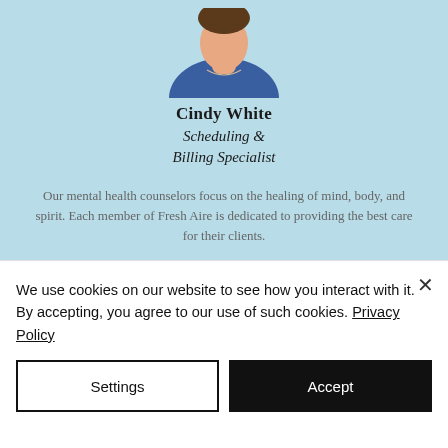[Figure (photo): Profile photo of Cindy White, partially visible at top of card]
Cindy White
Scheduling & Billing Specialist
Our mental health counselors focus on the healing of mind, body, and spirit. Each member of Fresh Aire is dedicated to providing the best care for their clients.
Fresh Aire currently is looking for additional passionate counselors to join our organization in making a difference.
We use cookies on our website to see how you interact with it. By accepting, you agree to our use of such cookies. Privacy Policy
Settings
Accept